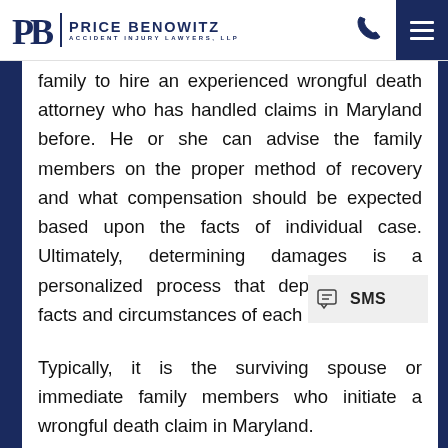[Figure (logo): Price Benowitz Accident Injury Lawyers LLP logo with stylized PB monogram and navigation icons]
family to hire an experienced wrongful death attorney who has handled claims in Maryland before. He or she can advise the family members on the proper method of recovery and what compensation should be expected based upon the facts of individual case. Ultimately, determining damages is a personalized process that depends on the facts and circumstances of each case.
Typically, it is the surviving spouse or immediate family members who initiate a wrongful death claim in Maryland.